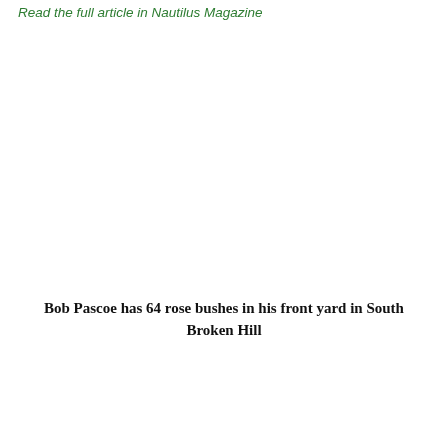Read the full article in Nautilus Magazine
Bob Pascoe has 64 rose bushes in his front yard in South Broken Hill